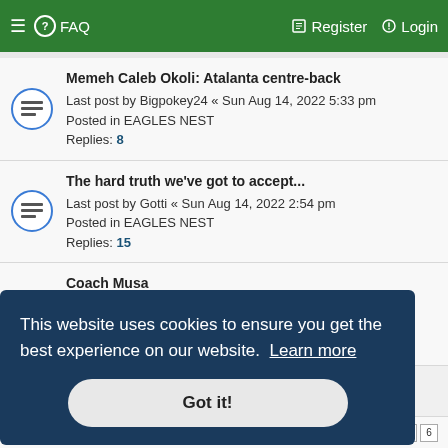≡ ❓ FAQ    Register  Login
Memeh Caleb Okoli: Atalanta centre-back
Last post by Bigpokey24 « Sun Aug 14, 2022 5:33 pm
Posted in EAGLES NEST
Replies: 8
The hard truth we've got to accept...
Last post by Gotti « Sun Aug 14, 2022 2:54 pm
Posted in EAGLES NEST
Replies: 15
Coach Musa
Last post by Gotti « Sat Aug 13, 2022 11:39 pm
Posted in EAGLES NEST
Replies: 22
This website uses cookies to ensure you get the best experience on our website. Learn more
Got it!
Replies: 121   1 2 3 4 5 6